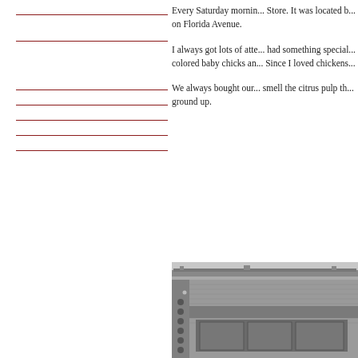Every Saturday morning... Store. It was located b... on Florida Avenue.
I always got lots of atte... had something special... colored baby chicks an... Since I loved chickens...
We always bought our... smell the citrus pulp th... ground up.
[Figure (photo): Black and white photograph of a brick building storefront, partially visible, showing facade with windows.]